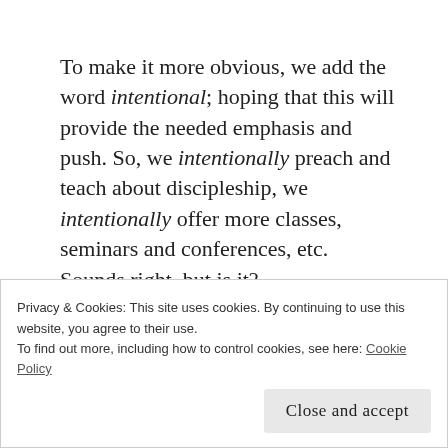To make it more obvious, we add the word intentional; hoping that this will provide the needed emphasis and push. So, we intentionally preach and teach about discipleship, we intentionally offer more classes, seminars and conferences, etc. Sounds right, but is it?
Perhaps the issue is more fundamental than it is intentional?
What if we are missing a very basic point in the way
Privacy & Cookies: This site uses cookies. By continuing to use this website, you agree to their use.
To find out more, including how to control cookies, see here: Cookie Policy